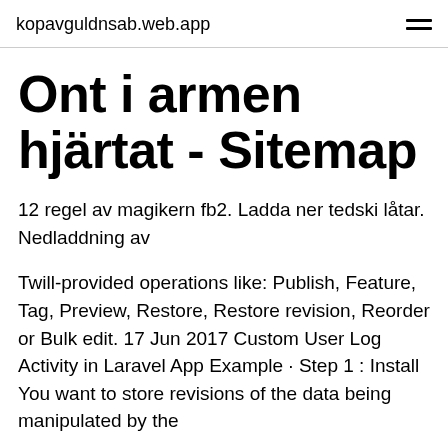kopavguldnsab.web.app
Ont i armen hjärtat - Sitemap
12 regel av magikern fb2. Ladda ner tedski låtar. Nedladdning av
Twill-provided operations like: Publish, Feature, Tag, Preview, Restore, Restore revision, Reorder or Bulk edit. 17 Jun 2017 Custom User Log Activity in Laravel App Example · Step 1 : Install You want to store revisions of the data being manipulated by the